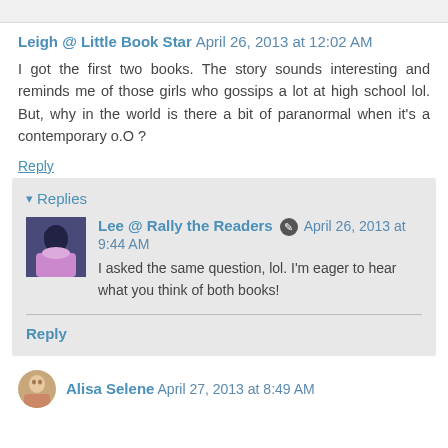Leigh @ Little Book Star April 26, 2013 at 12:02 AM
I got the first two books. The story sounds interesting and reminds me of those girls who gossips a lot at high school lol. But, why in the world is there a bit of paranormal when it's a contemporary o.O ?
Reply
Replies
Lee @ Rally the Readers April 26, 2013 at 9:44 AM
I asked the same question, lol. I'm eager to hear what you think of both books!
Reply
Alisa Selene April 27, 2013 at 8:49 AM